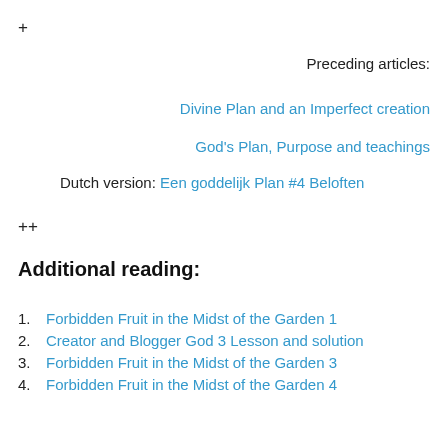+
Preceding articles:
Divine Plan and an Imperfect creation
God's Plan, Purpose and teachings
Dutch version: Een goddelijk Plan #4 Beloften
++
Additional reading:
Forbidden Fruit in the Midst of the Garden 1
Creator and Blogger God 3 Lesson and solution
Forbidden Fruit in the Midst of the Garden 3
Forbidden Fruit in the Midst of the Garden 4